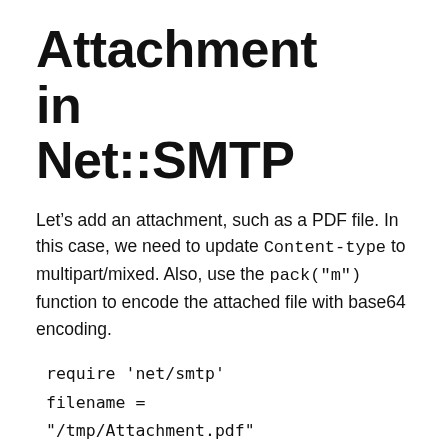Attachment in Net::SMTP
Let’s add an attachment, such as a PDF file. In this case, we need to update Content-type to multipart/mixed. Also, use the pack("m") function to encode the attached file with base64 encoding.
require 'net/smtp'
filename =
"/tmp/Attachment.pdf"